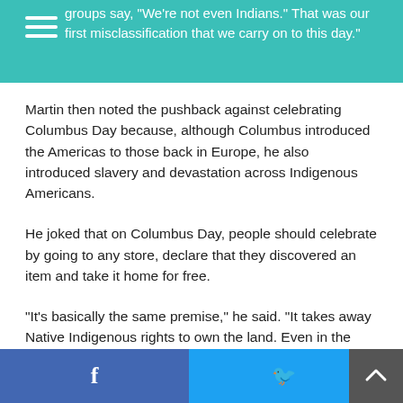groups say, "We're not even Indians." That was our first misclassification that we carry on to this day."
Martin then noted the pushback against celebrating Columbus Day because, although Columbus introduced the Americas to those back in Europe, he also introduced slavery and devastation across Indigenous Americans.
He joked that on Columbus Day, people should celebrate by going to any store, declare that they discovered an item and take it home for free.
“It’s basically the same premise,” he said. “It takes away Native Indigenous rights to own the land. Even in the U.S., the premise is that the land is no longer ours and is forever ceded — just by the idea they discovered
Facebook share | Twitter share | Back to top